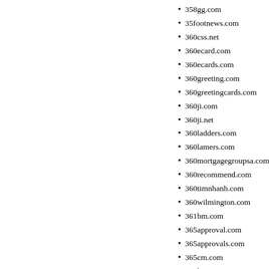358gg.com
35footnews.com
360css.net
360ecard.com
360ecards.com
360greeting.com
360greetingcards.com
360ji.com
360ji.net
360ladders.com
360lamers.com
360mortgagegroupsa.com
360recommend.com
360timnhanh.com
360wilmington.com
361bm.com
365approval.com
365approvals.com
365cm.com
365luxury.com
365plus1.com
365tikets.com
366green.com
368711.com
369gift.com
371power.com
3791avensongvillagecircle.c
37frascottave.com